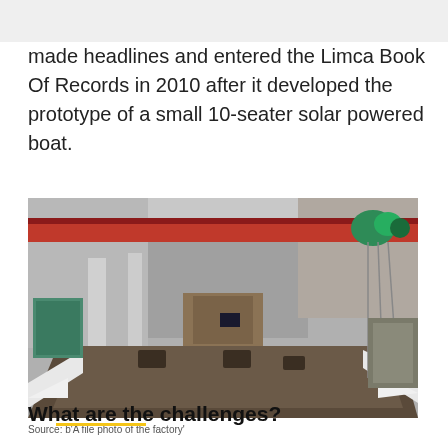made headlines and entered the Limca Book Of Records in 2010 after it developed the prototype of a small 10-seater solar powered boat.
[Figure (photo): Interior of a factory/shipyard showing a large flat structure (boat hull or platform) under construction, with an overhead red crane beam visible at the top, industrial columns and walls in the background, and various equipment and materials around.]
Source: b'A file photo of the factory'
What are the challenges?